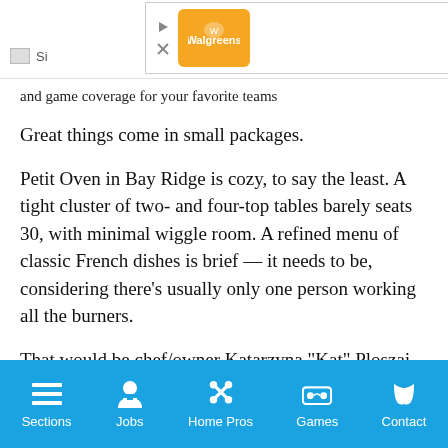[Figure (screenshot): Mobile app top bar with advertisement banner showing Walgreens logo, play/close/arrow icon buttons, and navigation insights text]
and game coverage for your favorite teams
Great things come in small packages.
Petit Oven in Bay Ridge is cozy, to say the least. A tight cluster of two- and four-top tables barely seats 30, with minimal wiggle room. A refined menu of classic French dishes is brief — it needs to be, considering there’s usually only one person working all the burners.
That would be chef/owner Katarzyna “Kat” Ploszaj, whose shock of white-blonde hair is easily identifiable from the dining area as she navigates her (petite) kitchen — alternately shucking oysters, rolling fresh pasta, reducing buerre blanc, slow baking salmon, searing free-range chicken, and dishing up wedges of her famous
Sections  Jobs  Home Pros  Games  Contact